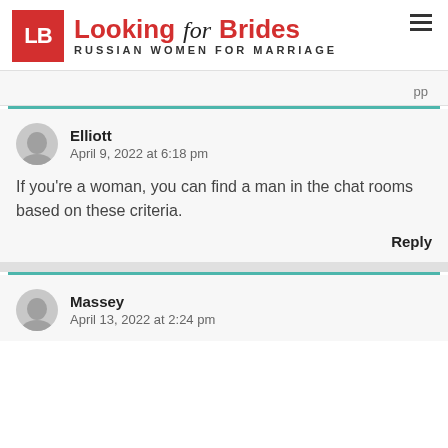[Figure (logo): Looking for Brides logo with red LB box and text 'Looking for Brides - RUSSIAN WOMEN FOR MARRIAGE']
Elliott
April 9, 2022 at 6:18 pm
If you’re a woman, you can find a man in the chat rooms based on these criteria.
Reply
Massey
April 13, 2022 at 2:24 pm